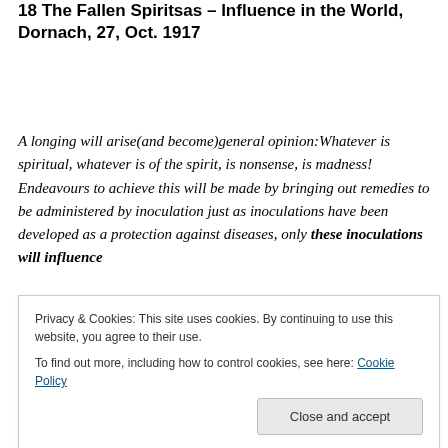18 The Fallen Spiritsas – Influence in the World, Dornach, 27, Oct. 1917
A longing will arise(and become)general opinion:Whatever is spiritual, whatever is of the spirit, is nonsense, is madness! Endeavours to achieve this will be made by bringing out remedies to be administered by inoculation just as inoculations have been developed as a protection against diseases, only these inoculations will influence
Privacy & Cookies: This site uses cookies. By continuing to use this website, you agree to their use. To find out more, including how to control cookies, see here: Cookie Policy
be made; inoculations will be tested that already in